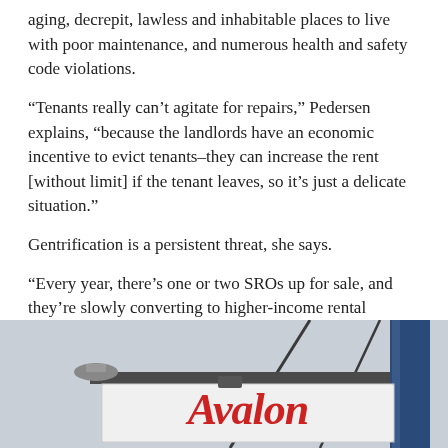aging, decrepit, lawless and inhabitable places to live with poor maintenance, and numerous health and safety code violations.
“Tenants really can’t agitate for repairs,” Pedersen explains, “because the landlords have an economic incentive to evict tenants–they can increase the rent [without limit] if the tenant leaves, so it’s just a delicate situation.”
Gentrification is a persistent threat, she says.
“Every year, there’s one or two SROs up for sale, and they’re slowly converting to higher-income rental housing.”
The SRO-C website notes that a few dozen hotels were renovicted and in some cases, rents rose to $1,500 a month for a room in these “boutique” hotels.
[Figure (photo): Photograph of an Avalon hotel sign mounted on a metal pole structure against a light sky background. The sign is white with red cursive lettering reading 'Avalon'.]